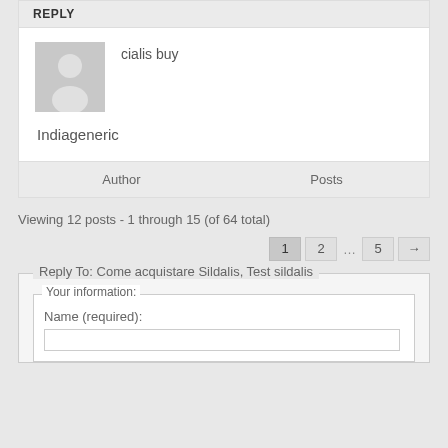REPLY
cialis buy
[Figure (illustration): Generic user avatar placeholder - grey square with white person silhouette]
Indiageneric
Author	Posts
Viewing 12 posts - 1 through 15 (of 64 total)
1  2  ...  5  →
Reply To: Come acquistare Sildalis, Test sildalis
Your information:
Name (required):